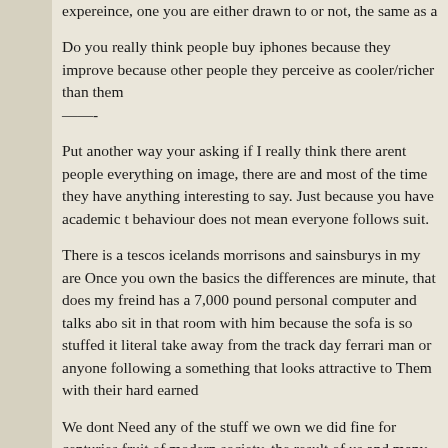expereince, one you are either drawn to or not, the same as a
Do you really think people buy iphones because they improve because other people they perceive as cooler/richer than them ——-
Put another way your asking if I really think there arent people everything on image, there are and most of the time they have anything interesting to say. Just because you have academic t behaviour does not mean everyone follows suit.
There is a tescos icelands morrisons and sainsburys in my are Once you own the basics the differences are minute, that does my freind has a 7,000 pound personal computer and talks abo sit in that room with him because the sofa is so stuffed it literal take away from the track day ferrari man or anyone following a something that looks attractive to Them with their hard earned
We dont Need any of the stuff we own we did fine for centuries fruit of modern society, the result of us and many generations society base everything on image, so what? You lot fall into tha different, your images are so threatened by others instead of a want to take away from them, justified by theorys and reducing components and labeling it “shit”.